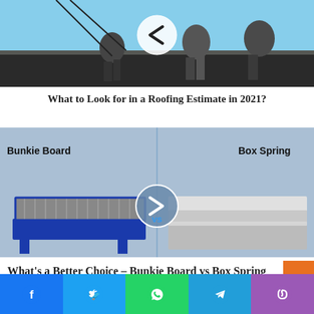[Figure (photo): Two workers on a rooftop installing roofing material, with a circular previous-arrow navigation button overlaid in the center top area.]
What to Look for in a Roofing Estimate in 2021?
[Figure (illustration): Illustrated comparison of a Bunkie Board (left, blue frame with gray ridged surface) versus a Box Spring (right, white/gray platform), with a circular next-arrow navigation button and 'vs' text overlaid in the center, on a light blue background.]
What's a Better Choice – Bunkie Board vs Box Spring
Facebook | Twitter | WhatsApp | Telegram | Phone